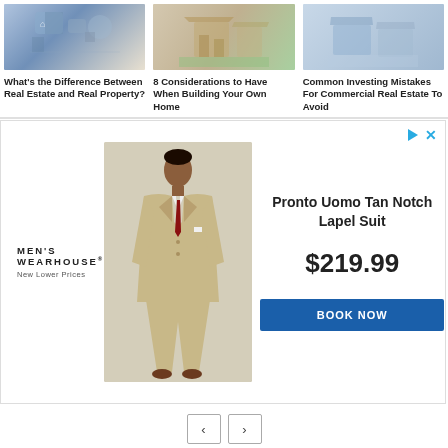[Figure (photo): Thumbnail image related to real estate and digital/financial tools]
What’s the Difference Between Real Estate and Real Property?
[Figure (photo): Thumbnail image of a house being built or a residential property]
8 Considerations to Have When Building Your Own Home
[Figure (photo): Thumbnail image related to commercial real estate investing]
Common Investing Mistakes For Commercial Real Estate To Avoid
[Figure (photo): Advertisement banner: Men's Wearhouse featuring Pronto Uomo Tan Notch Lapel Suit for $219.99 with Book Now button]